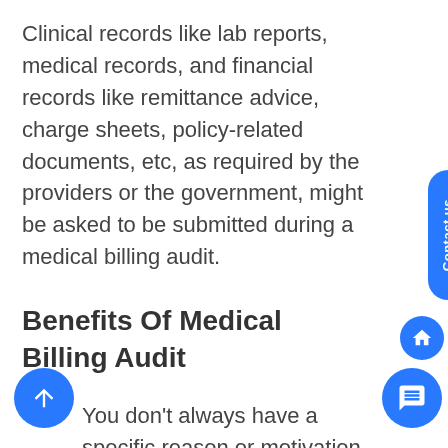Clinical records like lab reports, medical records, and financial records like remittance advice, charge sheets, policy-related documents, etc, as required by the providers or the government, might be asked to be submitted during a medical billing audit.
Benefits Of Medical Billing Audit
You don't always have a specific reason or motivation to conduct